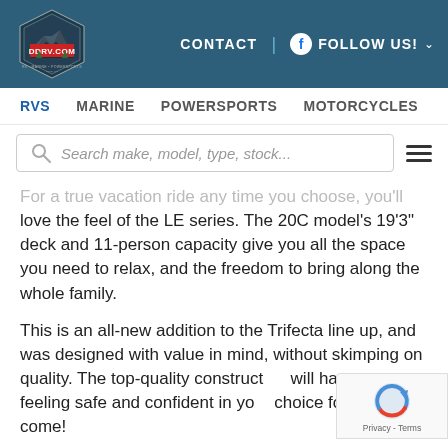DDRV.COM | CONTACT | FOLLOW US!
RVs  MARINE  POWERSPORTS  MOTORCYCLES
Search make, model, type, stock...
For a true vacation ride any time you choose, you'll love the feel of the LE series. The 20C model's 19'3" deck and 11-person capacity give you all the space you need to relax, and the freedom to bring along the whole family.
This is an all-new addition to the Trifecta line up, and was designed with value in mind, without skimping on quality. The top-quality construction will have you feeling safe and confident in your choice for years to come!